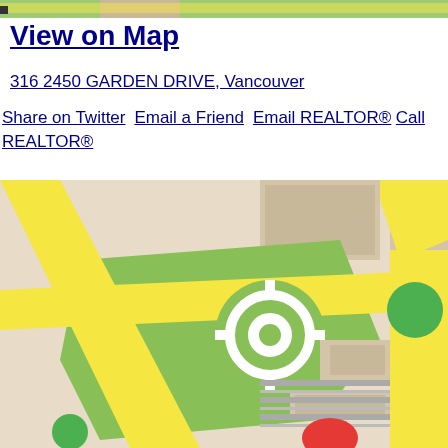[Figure (map): Top strip of a Google Maps-style street map showing colored roads and terrain]
View on Map
316 2450 GARDEN DRIVE, Vancouver
Share on Twitter  Email a Friend  Email REALTOR®  Call REALTOR®
[Figure (map): Google Maps-style street map showing a roundabout with green park area, yellow roads, beige city blocks, and a red location pin near the bottom]